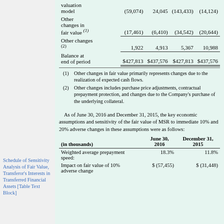|  | Col1 | Col2 | Col3 | Col4 |
| --- | --- | --- | --- | --- |
| valuation model | (59,074) | 24,045 | (143,433) | (14,124) |
| Other changes in fair value (1) | (17,461) | (6,410) | (34,542) | (20,644) |
| Other changes (2) | 1,922 | 4,913 | 5,367 | 10,988 |
| Balance at end of period | $427,813 | $437,576 | $427,813 | $437,576 |
(1) Other changes in fair value primarily represents changes due to the realization of expected cash flows.
(2) Other changes includes purchase price adjustments, contractual prepayment protection, and changes due to the Company's purchase of the underlying collateral.
As of June 30, 2016 and December 31, 2015, the key economic assumptions and sensitivity of the fair value of MSR to immediate 10% and 20% adverse changes in these assumptions were as follows:
| (in thousands) | June 30, 2016 | December 31, 2015 |
| --- | --- | --- |
| Weighted average prepayment speed: | 18.3% | 11.8% |
| Impact on fair value of 10% adverse change | $(57,455) | $(31,448) |
Schedule of Sensitivity Analysis of Fair Value, Transferor's Interests in Transferred Financial Assets [Table Text Block]